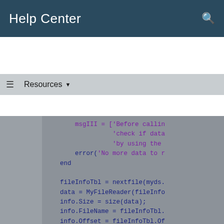Help Center
Resources ▼
[Figure (screenshot): Code snippet showing MATLAB/programming code with keywords in dark blue and string literals in purple on a gray background. Code includes msgIII array definition, error call, fileInfoTbl assignments, and CurrentFileIndex update block with end statements.]